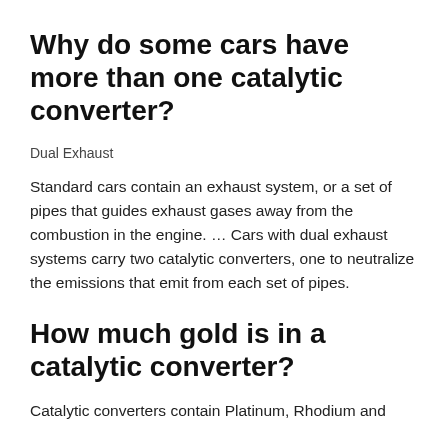Why do some cars have more than one catalytic converter?
Dual Exhaust
Standard cars contain an exhaust system, or a set of pipes that guides exhaust gases away from the combustion in the engine. … Cars with dual exhaust systems carry two catalytic converters, one to neutralize the emissions that emit from each set of pipes.
How much gold is in a catalytic converter?
Catalytic converters contain Platinum, Rhodium and